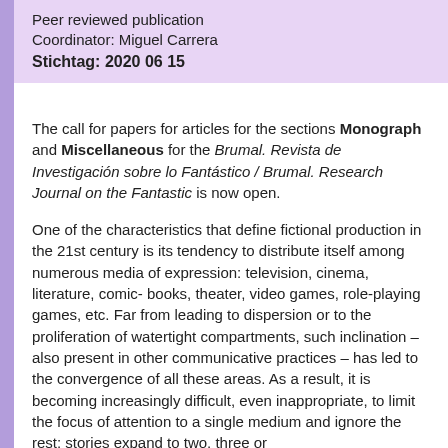Peer reviewed publication
Coordinator: Miguel Carrera
Stichtag: 2020 06 15
The call for papers for articles for the sections Monograph and Miscellaneous for the Brumal. Revista de Investigación sobre lo Fantástico / Brumal. Research Journal on the Fantastic is now open.
One of the characteristics that define fictional production in the 21st century is its tendency to distribute itself among numerous media of expression: television, cinema, literature, comic-books, theater, video games, role-playing games, etc. Far from leading to dispersion or to the proliferation of watertight compartments, such inclination – also present in other communicative practices – has led to the convergence of all these areas. As a result, it is becoming increasingly difficult, even inappropriate, to limit the focus of attention to a single medium and ignore the rest: stories expand to two, three or